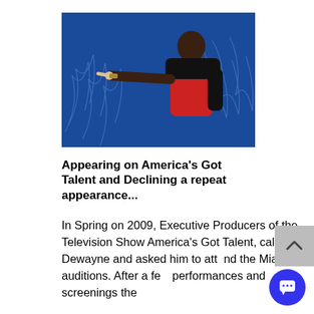[Figure (photo): A man in a red top and black jacket pointing towards the camera, against a blue decorative background with palm leaf patterns.]
Appearing on America's Got Talent and Declining a repeat appearance...
In Spring on 2009, Executive Producers of the Television Show America's Got Talent, called Dewayne and asked him to attend the Miami auditions. After a few performances and screenings the